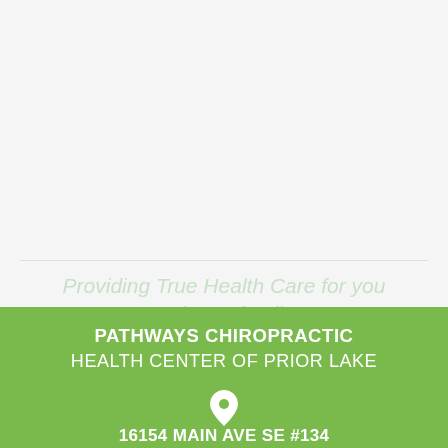Providing True Health Care for you and your family.
PATHWAYS CHIROPRACTIC
HEALTH CENTER OF PRIOR LAKE
16154 MAIN AVE SE #134
Prior Lake, MN 55372